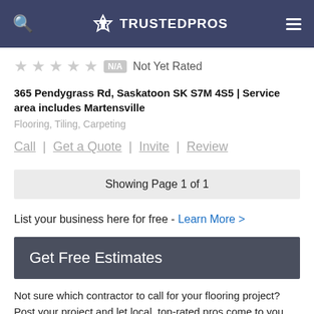TRUSTEDPROS
Not Yet Rated
365 Pendygrass Rd, Saskatoon SK S7M 4S5 | Service area includes Martensville
Flooring, Tiling, Carpeting
Call | Get a Quote | Invite | Review
Showing Page 1 of 1
List your business here for free - Learn More >
Get Free Estimates
Not sure which contractor to call for your flooring project? Post your project and let local, top-rated pros come to you